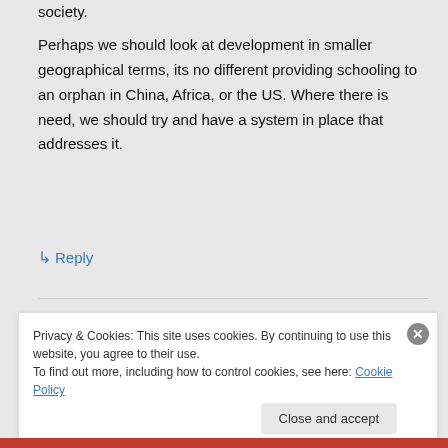society.
Perhaps we should look at development in smaller geographical terms, its no different providing schooling to an orphan in China, Africa, or the US. Where there is need, we should try and have a system in place that addresses it.
↳ Reply
Privacy & Cookies: This site uses cookies. By continuing to use this website, you agree to their use.
To find out more, including how to control cookies, see here: Cookie Policy
Close and accept